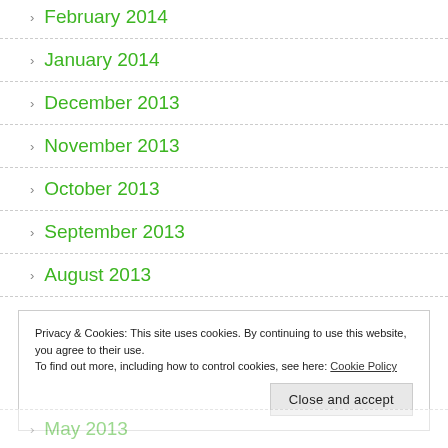February 2014
January 2014
December 2013
November 2013
October 2013
September 2013
August 2013
Privacy & Cookies: This site uses cookies. By continuing to use this website, you agree to their use.
To find out more, including how to control cookies, see here: Cookie Policy
May 2013